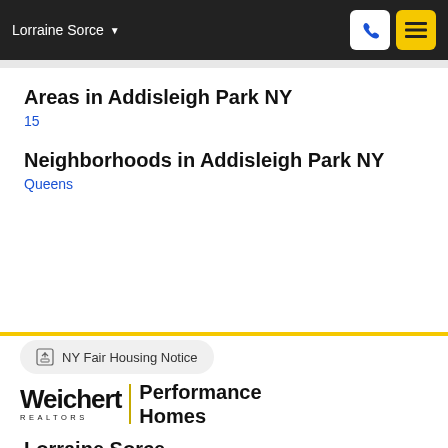Lorraine Sorce
Areas in Addisleigh Park NY
15
Neighborhoods in Addisleigh Park NY
Queens
NY Fair Housing Notice
[Figure (logo): Weichert Realtors Performance Homes logo]
Lorraine Sorce